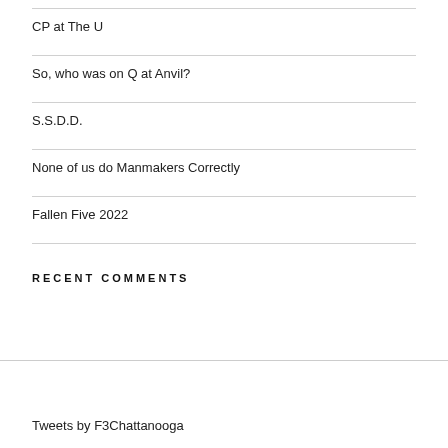CP at The U
So, who was on Q at Anvil?
S.S.D.D.
None of us do Manmakers Correctly
Fallen Five 2022
RECENT COMMENTS
Tweets by F3Chattanooga